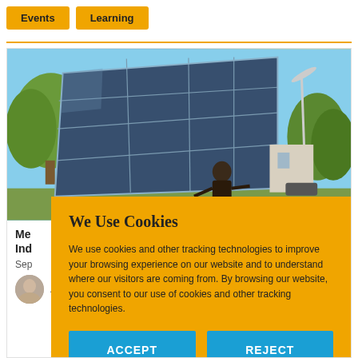Events
Learning
[Figure (photo): Large solar panel installation with a person standing behind it, trees in background, wind turbine visible on the right, blue sky]
Me[...] Ind[...]
Sep[...]
AARON SLATER
We Use Cookies

We use cookies and other tracking technologies to improve your browsing experience on our website and to understand where our visitors are coming from. By browsing our website, you consent to our use of cookies and other tracking technologies.
ACCEPT
REJECT